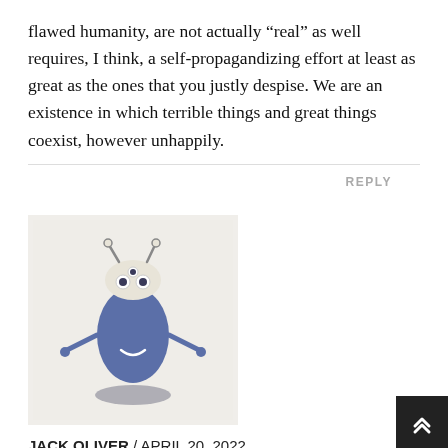flawed humanity, are not actually “real” as well requires, I think, a self-propagandizing effort at least as great as the ones that you justly despise. We are an existence in which terrible things and great things coexist, however unhappily.
REPLY
[Figure (illustration): Avatar image: cartoon alien-like creature with blue body, multiple eyes on top, arms outstretched, floating above a shadow, on a light beige background.]
JACK OLIVER / APRIL 20, 2022
ZIO/US no longer has access to FREE oil – bombing the ME for OIL days are over – Russia stopped it !
Turkey taking up NATOs position in Iraq